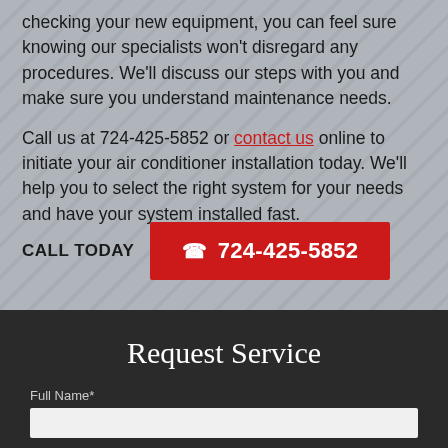checking your new equipment, you can feel sure knowing our specialists won't disregard any procedures. We'll discuss our steps with you and make sure you understand maintenance needs.
Call us at 724-425-5852 or contact us online to initiate your air conditioner installation today. We'll help you to select the right system for your needs and have your system installed fast.
CALL TODAY  ☎ 724-425-5852
Request Service
Full Name*